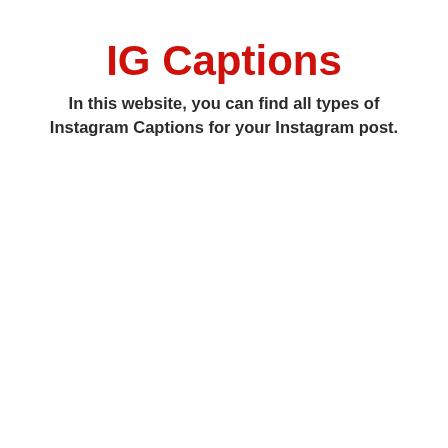IG Captions
In this website, you can find all types of Instagram Captions for your Instagram post.